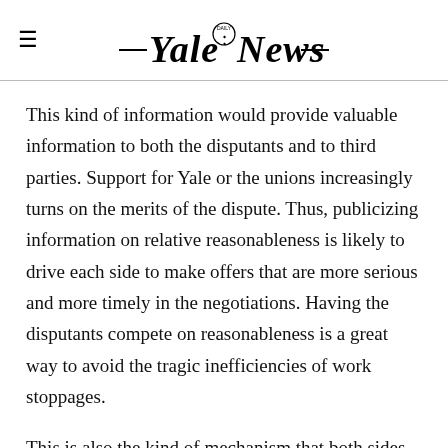Yale Daily News
This kind of information would provide valuable information to both the disputants and to third parties. Support for Yale or the unions increasingly turns on the merits of the dispute. Thus, publicizing information on relative reasonableness is likely to drive each side to make offers that are more serious and more timely in the negotiations. Having the disputants compete on reasonableness is a great way to avoid the tragic inefficiencies of work stoppages.
This is also the kind of mechanism that both sides could agree to — right now to help settle the current strike, but also as part of a prospective agreement to avoid further